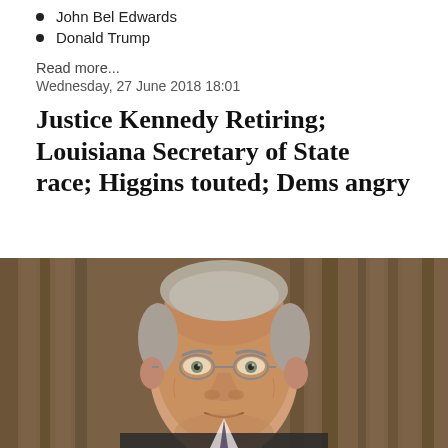John Bel Edwards
Donald Trump
Read more...
Wednesday, 27 June 2018 18:01
Justice Kennedy Retiring; Louisiana Secretary of State race; Higgins touted; Dems angry
[Figure (photo): Portrait photograph of an elderly man with grey hair and glasses, wearing a dark suit, photographed in front of a wooden paneled background. The subject appears to be Supreme Court Justice Anthony Kennedy.]